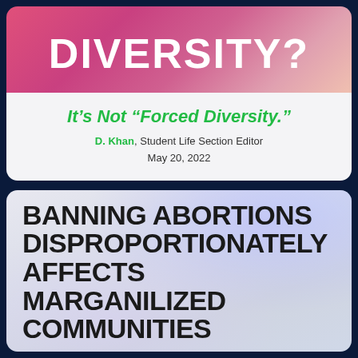DIVERSITY?
It’s Not “Forced Diversity.”
D. Khan, Student Life Section Editor
May 20, 2022
[Figure (illustration): Gradient banner image with blurred pastel colors (purple, blue, pink) with bold black text overlay reading: BANNING ABORTIONS DISPROPORTIONATELY AFFECTS MARGANILIZED COMMUNITIES]